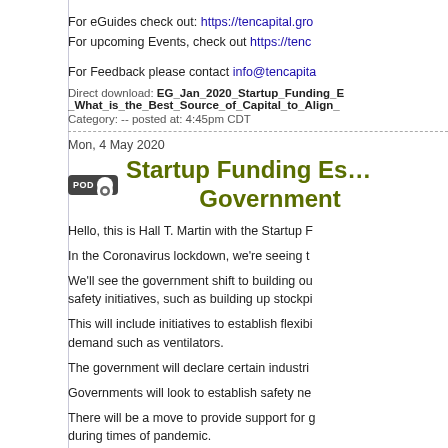For eGuides check out: https://tencapital.gro
For upcoming Events, check out https://tenc
For Feedback please contact info@tencapita
Direct download: EG_Jan_2020_Startup_Funding_E_What_is_the_Best_Source_of_Capital_to_Align_
Category: -- posted at: 4:45pm CDT
Mon, 4 May 2020
Startup Funding Es… Government
Hello, this is Hall T. Martin with the Startup F
In the Coronavirus lockdown, we're seeing t
We'll see the government shift to building ou… safety initiatives, such as building up stockpi
This will include initiatives to establish flexibi… demand such as ventilators.
The government will declare certain industri
Governments will look to establish safety ne
There will be a move to provide support for g… during times of pandemic.
Medicare will update HIPAA laws to allow fo… will allow for Medicare billing for telemedicin
In education, the government will look to al
Taxes will most likely rise to cover the costs